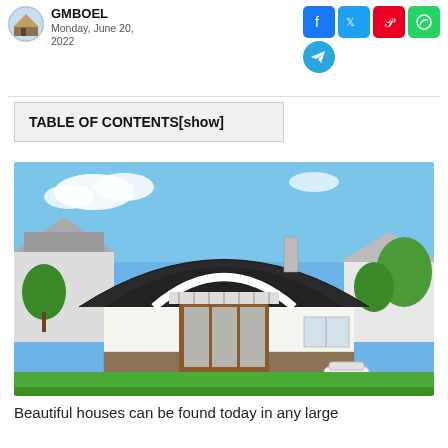GMBOEL
Monday, June 20, 2022
TABLE OF CONTENTS[show]
[Figure (photo): Exterior rendering of a modern house with a dark arched roof, wooden bay window facade, balcony, brick patio, outdoor furniture, and surrounding greenery.]
Beautiful houses can be found today in any large